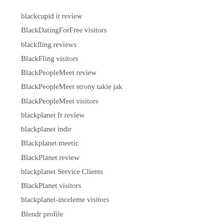blackcupid it review
BlackDatingForFree visitors
blackfling reviews
BlackFling visitors
BlackPeopleMeet review
BlackPeopleMeet strony takie jak
BlackPeopleMeet visitors
blackplanet fr review
blackplanet indir
Blackplanet meetic
BlackPlanet review
blackplanet Service Clients
BlackPlanet visitors
blackplanet-inceleme visitors
Blendr profile